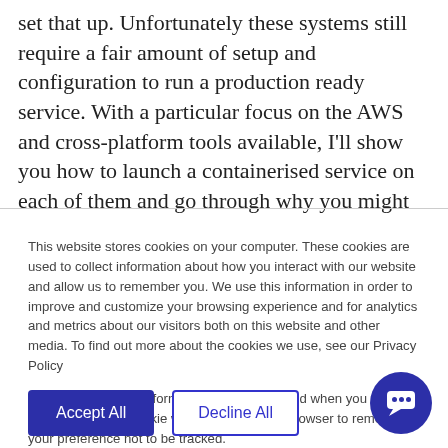set that up. Unfortunately these systems still require a fair amount of setup and configuration to run a production ready service. With a particular focus on the AWS and cross-platform tools available, I’ll show you how to launch a containerised service on each of them and go through why you might pick one over another.
This website stores cookies on your computer. These cookies are used to collect information about how you interact with our website and allow us to remember you. We use this information in order to improve and customize your browsing experience and for analytics and metrics about our visitors both on this website and other media. To find out more about the cookies we use, see our Privacy Policy
If you decline, your information won’t be tracked when you visit this website. A single cookie will be used in your browser to remember your preference not to be tracked.
Accept All
Decline All